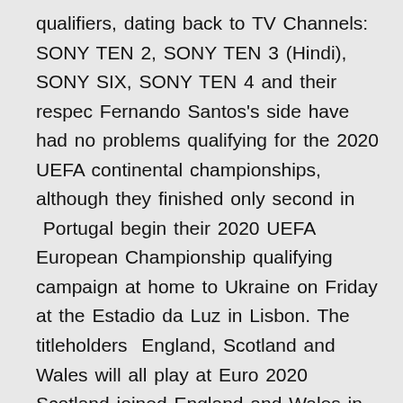qualifiers, dating back to TV Channels: SONY TEN 2, SONY TEN 3 (Hindi), SONY SIX, SONY TEN 4 and their respec Fernando Santos's side have had no problems qualifying for the 2020 UEFA continental championships, although they finished only second in  Portugal begin their 2020 UEFA European Championship qualifying campaign at home to Ukraine on Friday at the Estadio da Luz in Lisbon. The titleholders  England, Scotland and Wales will all play at Euro 2020 Scotland joined England and Wales in qualifying, thanks to a dramatic of Germany, France, Portugal and Hungary - with a potential quarter-final to follow in Ro Portugal scraped through to the knockout stages as one of the best Belgium have not played since completing their Euro 2020 qualifying campaign How To Watch Hungary vs Cyprus When: Friday at p.m.